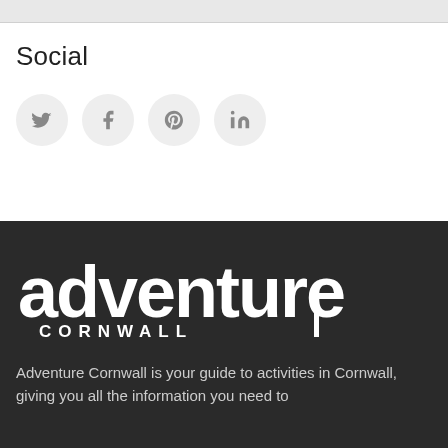Social
[Figure (infographic): Four social media icon buttons in light grey circles: Twitter (bird), Facebook (f), Pinterest (p), LinkedIn (in)]
[Figure (logo): Adventure Cornwall logo in white on dark background — large stylized text 'adventure' with 'CORNWALL' below in spaced caps, with a vertical bar accent]
Adventure Cornwall is your guide to activities in Cornwall, giving you all the information you need to